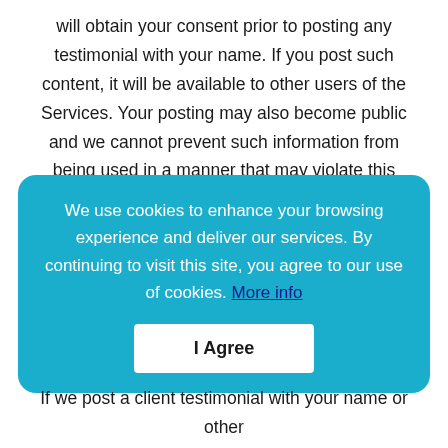will obtain your consent prior to posting any testimonial with your name. If you post such content, it will be available to other users of the Services. Your posting may also become public and we cannot prevent such information from being used in a manner that may violate this Policy or the law. If you would like us to remove or delete your name or testimonial from our Services, you may contact Curaytor using the information in the ''How to Contact Us'' section of this Policy. Note that copies of information that you have
We use cookies to enhance your browsing experience and deliver our services. By continuing to visit this site, you agree to our use of cookies. More info
I Agree
If we post a client testimonial with your name or other